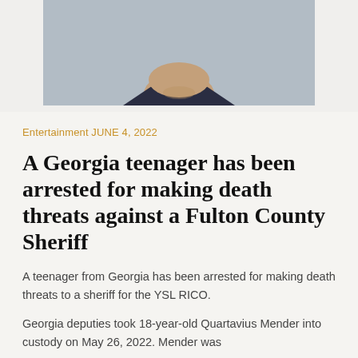[Figure (photo): Mugshot or arrest photo of a person wearing a dark navy shirt, with face cropped at top, showing neck and upper chest area against a grey background]
Entertainment JUNE 4, 2022
A Georgia teenager has been arrested for making death threats against a Fulton County Sheriff
A teenager from Georgia has been arrested for making death threats to a sheriff for the YSL RICO.
Georgia deputies took 18-year-old Quartavius Mender into custody on May 26, 2022. Mender was